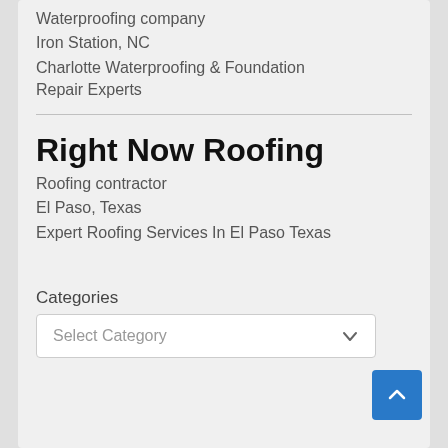Waterproofing company
Iron Station, NC
Charlotte Waterproofing & Foundation Repair Experts
Right Now Roofing
Roofing contractor
El Paso, Texas
Expert Roofing Services In El Paso Texas
Categories
Select Category